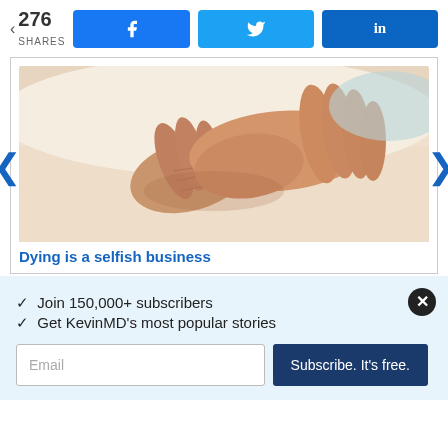276 SHARES | Facebook share | Twitter share | LinkedIn share
[Figure (photo): Close-up photo of an elderly person's wrinkled hands being held by a younger person's hands, resting on a white surface, suggesting comfort or end-of-life care]
Dying is a selfish business
✓  Join 150,000+ subscribers
✓  Get KevinMD's most popular stories
Email | Subscribe. It's free.